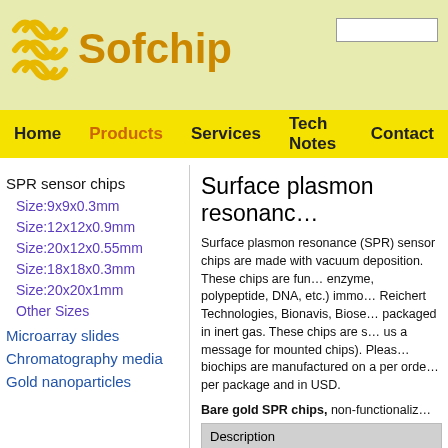Sofchip
Home | Products | Services | Tech Notes | Contact
SPR sensor chips
Size:9x9x0.3mm
Size:12x12x0.9mm
Size:20x12x0.55mm
Size:18x18x0.3mm
Size:20x20x1mm
Other Sizes
Microarray slides
Chromatography media
Gold nanoparticles
Surface plasmon resonanc…
Surface plasmon resonance (SPR) sensor chips are made with vacuum deposition. These chips are functionalized (antibody, enzyme, polypeptide, DNA, etc.) immobilized. Compatible with Reichert Technologies, Bionavis, Biosensing Instruments and packaged in inert gas. These chips are sold unmounted (send us a message for mounted chips). Please note that some biochips are manufactured on a per order basis. Prices are per package and in USD.
Bare gold SPR chips, non-functionalized
| Description |
| --- |
| Bare gold SPR chip |